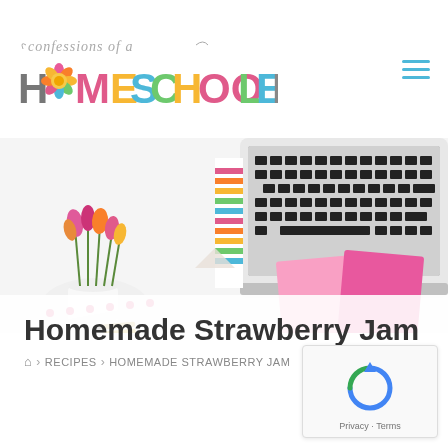[Figure (logo): Confessions of a Homeschooler logo with cursive script above and colorful block lettering below]
[Figure (photo): Hero banner photo showing a pink open notebook, colorful tulips in a cup, a MacBook keyboard, a colorful striped notepad, a pink and white striped straw, and gold paper clips on a white desk]
Homemade Strawberry Jam
RECIPES > HOMEMADE STRAWBERRY JAM